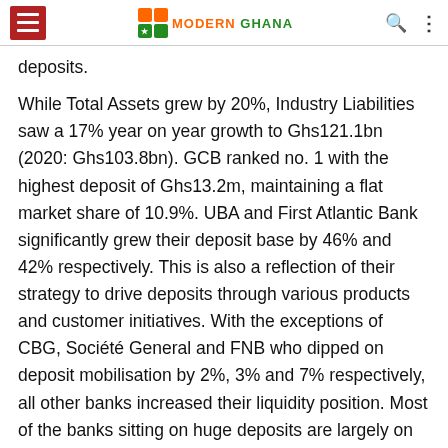Modern Ghana
deposits.
While Total Assets grew by 20%, Industry Liabilities saw a 17% year on year growth to Ghs121.1bn (2020: Ghs103.8bn). GCB ranked no. 1 with the highest deposit of Ghs13.2m, maintaining a flat market share of 10.9%. UBA and First Atlantic Bank significantly grew their deposit base by 46% and 42% respectively. This is also a reflection of their strategy to drive deposits through various products and customer initiatives. With the exceptions of CBG, Société General and FNB who dipped on deposit mobilisation by 2%, 3% and 7% respectively, all other banks increased their liquidity position. Most of the banks sitting on huge deposits are largely on the back of Mobile Money partnerships with the Telcos.